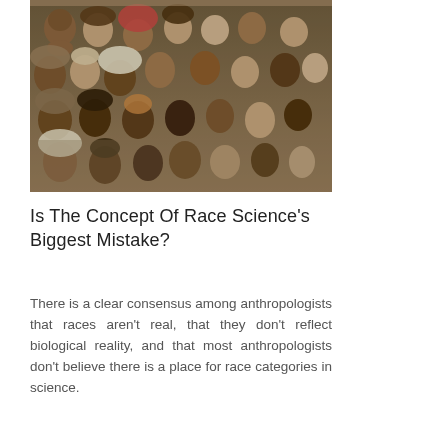[Figure (illustration): Historical illustration painting showing a large group of people of diverse racial and ethnic backgrounds, depicted in traditional clothing and headwear from various cultures, crowded together in a composition.]
Is The Concept Of Race Science's Biggest Mistake?
There is a clear consensus among anthropologists that races aren't real, that they don't reflect biological reality, and that most anthropologists don't believe there is a place for race categories in science.